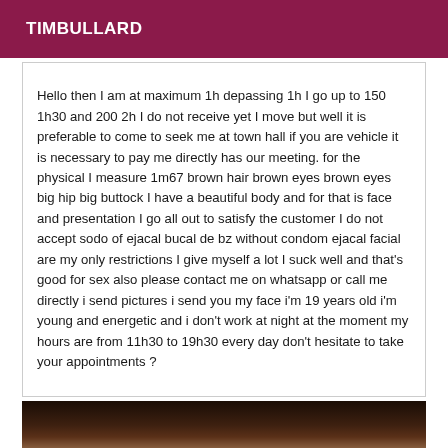TIMBULLARD
Hello then I am at maximum 1h depassing 1h I go up to 150 1h30 and 200 2h I do not receive yet I move but well it is preferable to come to seek me at town hall if you are vehicle it is necessary to pay me directly has our meeting. for the physical I measure 1m67 brown hair brown eyes brown eyes big hip big buttock I have a beautiful body and for that is face and presentation I go all out to satisfy the customer I do not accept sodo of ejacal bucal de bz without condom ejacal facial are my only restrictions I give myself a lot I suck well and that's good for sex also please contact me on whatsapp or call me directly i send pictures i send you my face i'm 19 years old i'm young and energetic and i don't work at night at the moment my hours are from 11h30 to 19h30 every day don't hesitate to take your appointments ?
[Figure (photo): Partial dark photo visible at bottom of page]